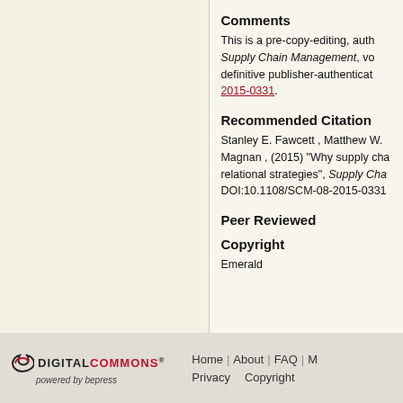Comments
This is a pre-copy-editing, auth Supply Chain Management, vo definitive publisher-authenticat 2015-0331.
Recommended Citation
Stanley E. Fawcett , Matthew W. Magnan , (2015) "Why supply cha relational strategies", Supply Cha DOI:10.1108/SCM-08-2015-0331
Peer Reviewed
Copyright
Emerald
Home | About | FAQ | M Privacy Copyright